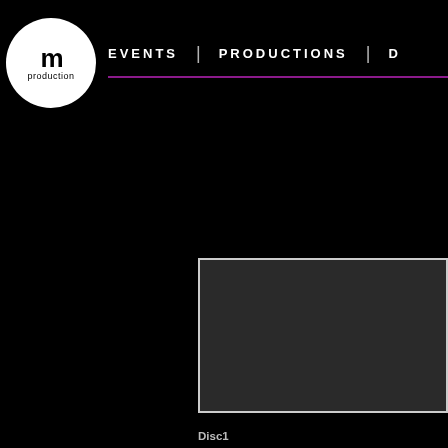[Figure (logo): TM Production logo: white circle with TM text and 'production' below]
EVENTS  |  PRODUCTIONS  |  D
[Figure (photo): Dark gray album art or video placeholder box with white border]
Disc1
11. Sonnet in A Major
12. Fantasy-Mazurka
13. Mazurka No.1
14. Mazurka No.2
15. Mazurka No.3
16. Mazurka No.4
17. Melody in Armenian Style
18. Valse No. 4 in A Flat Major